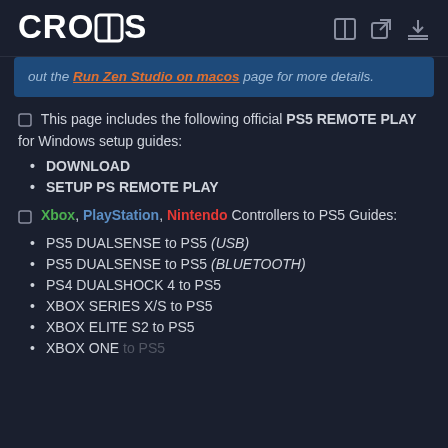CRONUS (logo with icons)
out the Run Zen Studio on macos page for more details.
🛈 This page includes the following official PS5 REMOTE PLAY for Windows setup guides:
DOWNLOAD
SETUP PS REMOTE PLAY
🛈 Xbox, PlayStation, Nintendo Controllers to PS5 Guides:
PS5 DUALSENSE to PS5 (USB)
PS5 DUALSENSE to PS5 (BLUETOOTH)
PS4 DUALSHOCK 4 to PS5
XBOX SERIES X/S to PS5
XBOX ELITE S2 to PS5
XBOX ONE to PS5